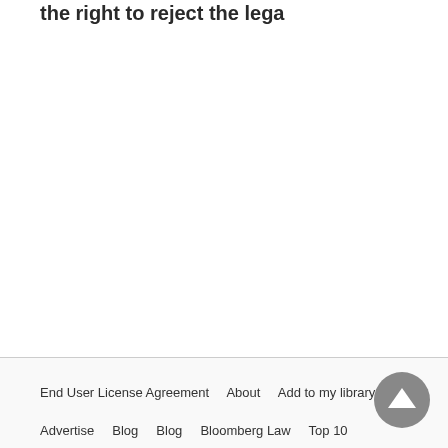the right to reject the lega
End User License Agreement   About   Add to my library   Advertise   Blog   Blog   Bloomberg Law   Top 10